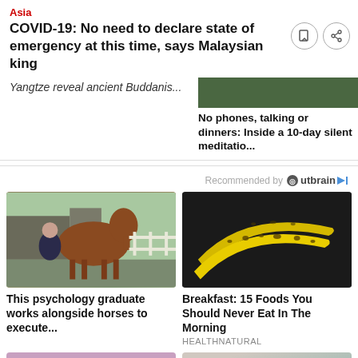Asia
COVID-19: No need to declare state of emergency at this time, says Malaysian king
Yangtze reveal ancient Buddanis...
No phones, talking or dinners: Inside a 10-day silent meditatio...
Recommended by Outbrain
[Figure (photo): A woman standing next to a brown horse outdoors]
This psychology graduate works alongside horses to execute...
[Figure (photo): Two ripe spotty yellow bananas on a dark background]
Breakfast: 15 Foods You Should Never Eat In The Morning
HEALTHNATURAL
[Figure (photo): Building with cherry blossom trees]
[Figure (photo): Person in dark clothing outdoors]